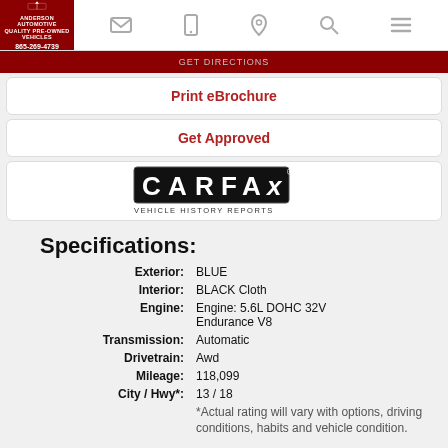Anderson Automotive 865-269-4739
Print eBrochure
Get Approved
[Figure (logo): CARFAX Vehicle History Reports logo]
Specifications:
| Field | Value |
| --- | --- |
| Exterior: | BLUE |
| Interior: | BLACK Cloth |
| Engine: | Engine: 5.6L DOHC 32V Endurance V8 |
| Transmission: | Automatic |
| Drivetrain: | Awd |
| Mileage: | 118,099 |
| City / Hwy*: | 13 / 18 |
*Actual rating will vary with options, driving conditions, habits and vehicle condition.